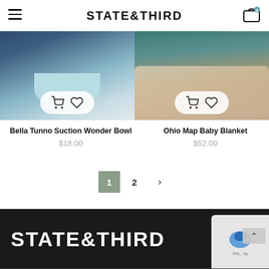STATE&THIRD
[Figure (photo): Product photo of Bella Tunno Suction Wonder Bowl – child holding a light blue suction bowl]
Bella Tunno Suction Wonder Bowl
$18.00
[Figure (photo): Product photo of Ohio Map Baby Blanket – floral patterned blanket on floor near furniture]
Ohio Map Baby Blanket
$52.00
1  2  >
STATE&THIRD